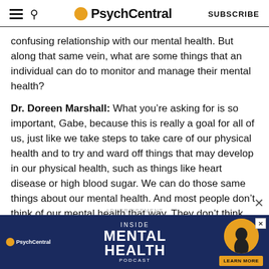PsychCentral | SUBSCRIBE
confusing relationship with our mental health. But along that same vein, what are some things that an individual can do to monitor and manage their mental health?
Dr. Doreen Marshall: What you’re asking for is so important, Gabe, because this is really a goal for all of us, just like we take steps to take care of our physical health and to try and ward off things that may develop in our physical health, such as things like heart disease or high blood sugar. We can do those same things about our mental health. And most people don’t think of our mental health that way. They don’t think there’s
[Figure (screenshot): Advertisement banner for PsychCentral Inside Mental Health Podcast on dark navy background with golden circle image]